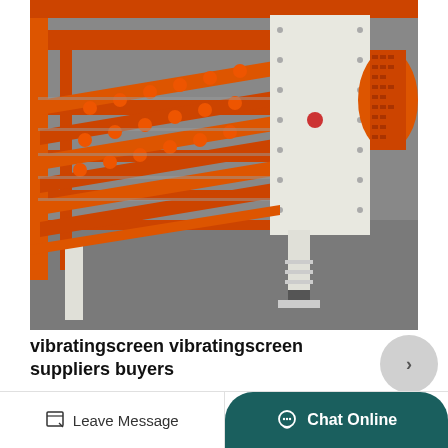[Figure (photo): Industrial vibrating screen machine photographed close-up, showing orange steel frame structure with multiple screening decks, rubber ball separators on grating, white side panel with bolts, and white support legs on a grey floor.]
vibratingscreen vibratingscreen suppliers buyers
Vibratingscreen directory vibratin...